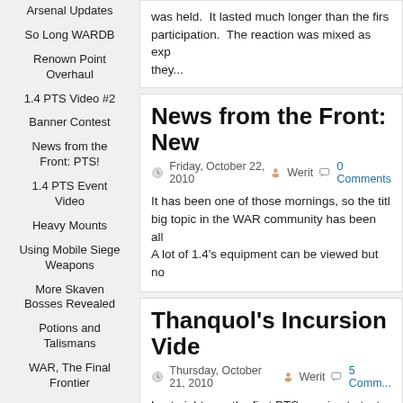Arsenal Updates
So Long WARDB
Renown Point Overhaul
1.4 PTS Video #2
Banner Contest
News from the Front: PTS!
1.4 PTS Event Video
Heavy Mounts
Using Mobile Siege Weapons
More Skaven Bosses Revealed
Potions and Talismans
WAR, The Final Frontier
was held.  It lasted much longer than the first... participation.  The reaction was mixed as exp... they...
News from the Front: New...
Friday, October 22, 2010   Werit   0 Comments
It has been one of those mornings, so the titl... big topic in the WAR community has been all... A lot of 1.4's equipment can be viewed but no...
Thanquol's Incursion Vide...
Thursday, October 21, 2010   Werit   5 Comm...
Last night was the first PTS session to test W... dungeon, Thanquol's Incursion.  Sadly, the te... that is what the PTS is for.  I was lucky enoug... Continue...